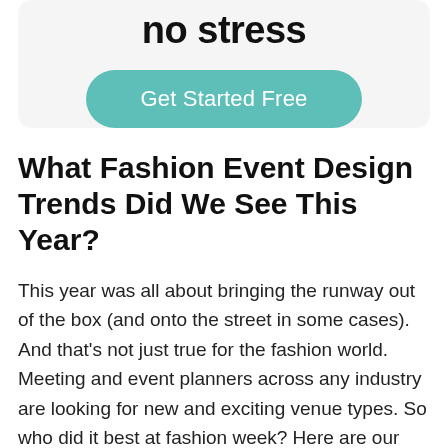no stress
[Figure (other): Teal rounded button labeled 'Get Started Free']
What Fashion Event Design Trends Did We See This Year?
This year was all about bringing the runway out of the box (and onto the street in some cases). And that's not just true for the fashion world. Meeting and event planners across any industry are looking for new and exciting venue types. So who did it best at fashion week? Here are our